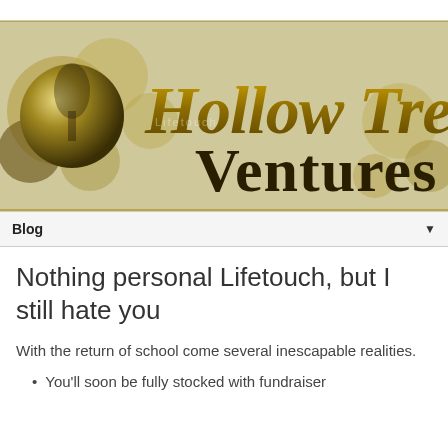[Figure (logo): Hollow Tree Ventures logo banner with decorative golden circles and cursive/bold text on a tan/beige background]
Blog ▼
Nothing personal Lifetouch, but I still hate you
With the return of school come several inescapable realities.
You'll soon be fully stocked with fundraiser